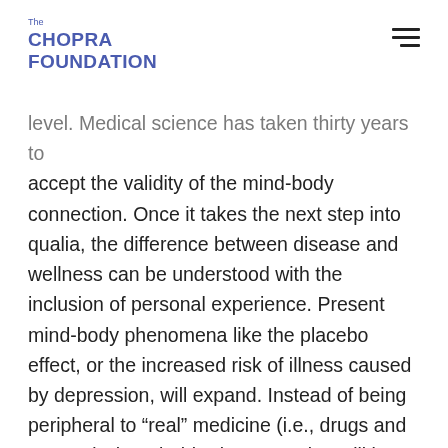The CHOPRA FOUNDATION
level. Medical science has taken thirty years to accept the validity of the mind-body connection. Once it takes the next step into qualia, the difference between disease and wellness can be understood with the inclusion of personal experience. Present mind-body phenomena like the placebo effect, or the increased risk of illness caused by depression, will expand. Instead of being peripheral to “real” medicine (i.e., drugs and surgery), the mind-body connection will be central to prevention and wellness.
We’ve presented here only a sketch of the possibilities. A living universe must be considered as a strong possibility. It already is among for